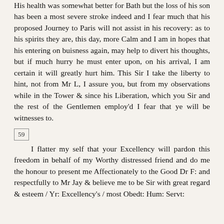His health was somewhat better for Bath but the loss of his son has been a most severe stroke indeed and I fear much that his proposed Journey to Paris will not assist in his recovery: as to his spirits they are, this day, more Calm and I am in hopes that his entering on buisness again, may help to divert his thoughts, but if much hurry he must enter upon, on his arrival, I am certain it will greatly hurt him. This Sir I take the liberty to hint, not from Mr L, I assure you, but from my observations while in the Tower & since his Liberation, which you Sir and the rest of the Gentlemen employ'd I fear that ye will be witnesses to.
59
I flatter my self that your Excellency will pardon this freedom in behalf of my Worthy distressed friend and do me the honour to present me Affectionately to the Good Dr F: and respectfully to Mr Jay & believe me to be Sir with great regard & esteem / Yr: Excellency's / most Obedt: Hum: Servt: